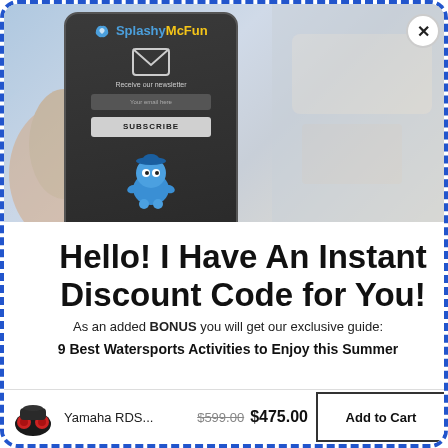[Figure (screenshot): Screenshot of SplashyMcFun website/app showing a phone popup with email subscription form, featuring the SplashyMcFun logo, an envelope icon, email input field, SUBSCRIBE button, and a blue mascot character. Background shows a blurry bedroom/hotel scene with a hand holding the phone.]
Hello! I Have An Instant Discount Code for You!
As an added BONUS you will get our exclusive guide: 9 Best Watersports Activities to Enjoy this Summer
Enter your email here...
Yamaha RDS... $599.00 $475.00 Add to Cart